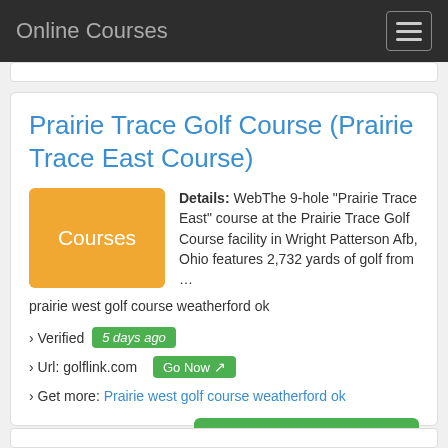Online Courses
Prairie Trace Golf Course (Prairie Trace East Course)
Details: WebThe 9-hole "Prairie Trace East" course at the Prairie Trace Golf Course facility in Wright Patterson Afb, Ohio features 2,732 yards of golf from … prairie west golf course weatherford ok
› Verified 5 days ago
› Url: golflink.com Go Now
› Get more: Prairie west golf course weatherford ok
Show Online Courses